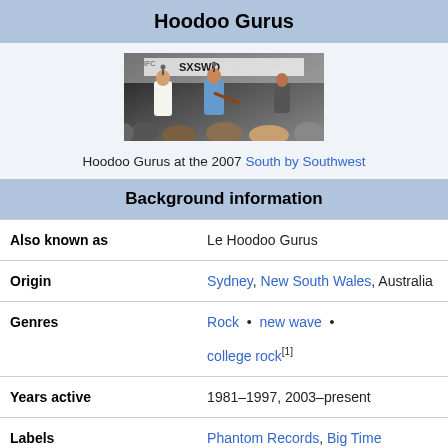Hoodoo Gurus
[Figure (photo): Hoodoo Gurus performing at the 2007 South by Southwest festival, band members on stage under a tent with SXSW banner, audience in foreground]
Hoodoo Gurus at the 2007 South by Southwest
Background information
| Field | Value |
| --- | --- |
| Also known as | Le Hoodoo Gurus |
| Origin | Sydney, New South Wales, Australia |
| Genres | Rock • new wave • college rock[1] |
| Years active | 1981–1997, 2003–present |
| Labels | Phantom Records, Big Time |